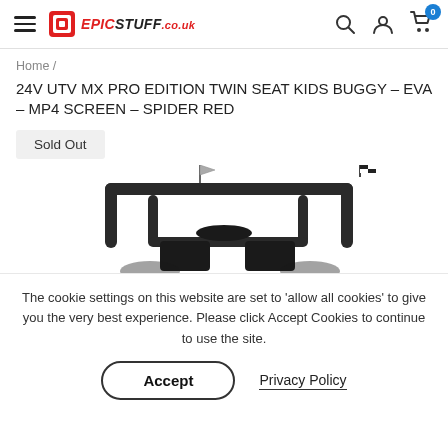EPICSTUFF.co.uk — navigation bar with hamburger menu, logo, search, account, and cart icons
Home /
24V UTV MX PRO EDITION TWIN SEAT KIDS BUGGY – EVA – MP4 SCREEN – SPIDER RED
Sold Out
[Figure (photo): Partial view of a kids ride-on buggy (UTV) showing the roll bar, two small flags (one plain, one checkered), and the seat/steering area against a white background.]
The cookie settings on this website are set to 'allow all cookies' to give you the very best experience. Please click Accept Cookies to continue to use the site.
Accept
Privacy Policy